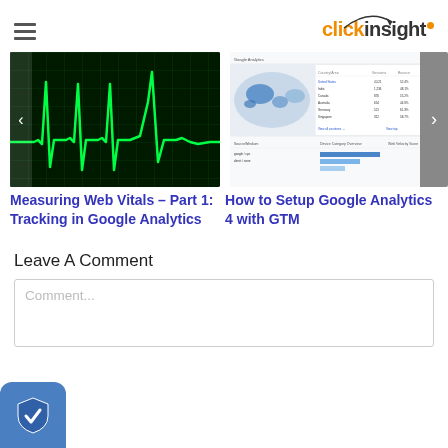clickinsight (logo with hamburger menu)
[Figure (screenshot): ECG/heartbeat waveform on dark green grid background]
[Figure (screenshot): Google Analytics 4 dashboard screenshot showing map and data tables]
Measuring Web Vitals – Part 1: Tracking in Google Analytics
How to Setup Google Analytics 4 with GTM
Leave A Comment
Comment...